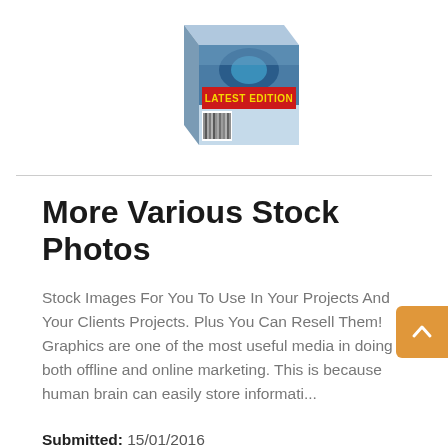[Figure (photo): Product box with 'LATEST EDITION' red banner label and barcode, showing a scenic mountain/earth image on packaging]
More Various Stock Photos
Stock Images For You To Use In Your Projects And Your Clients Projects. Plus You Can Resell Them! Graphics are one of the most useful media in doing both offline and online marketing. This is because human brain can easily store informati...
Submitted: 15/01/2016
Size: 40.74 MB
License: Resell Rights